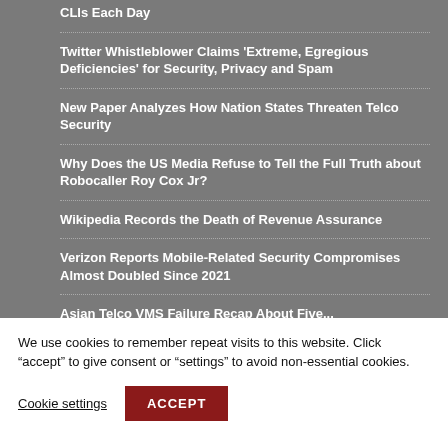CLIs Each Day
Twitter Whistleblower Claims ‘Extreme, Egregious Deficiencies’ for Security, Privacy and Spam
New Paper Analyzes How Nation States Threaten Telco Security
Why Does the US Media Refuse to Tell the Full Truth about Robocaller Roy Cox Jr?
Wikipedia Records the Death of Revenue Assurance
Verizon Reports Mobile-Related Security Compromises Almost Doubled Since 2021
Asian Telco VHS Failure...
We use cookies to remember repeat visits to this website. Click “accept” to give consent or “settings” to avoid non-essential cookies.
Cookie settings  ACCEPT